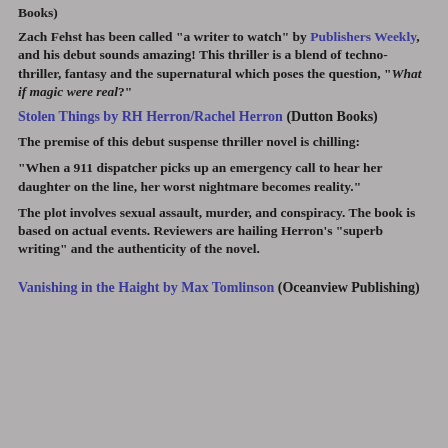Books)
Zach Fehst has been called "a writer to watch" by Publishers Weekly, and his debut sounds amazing! This thriller is a blend of techno-thriller, fantasy and the supernatural which poses the question, "What if magic were real?"
Stolen Things by RH Herron/Rachel Herron (Dutton Books)
The premise of this debut suspense thriller novel is chilling:
"When a 911 dispatcher picks up an emergency call to hear her daughter on the line, her worst nightmare becomes reality."
The plot involves sexual assault, murder, and conspiracy. The book is based on actual events. Reviewers are hailing Herron's "superb writing" and the authenticity of the novel.
Vanishing in the Haight by Max Tomlinson (Oceanview Publishing)